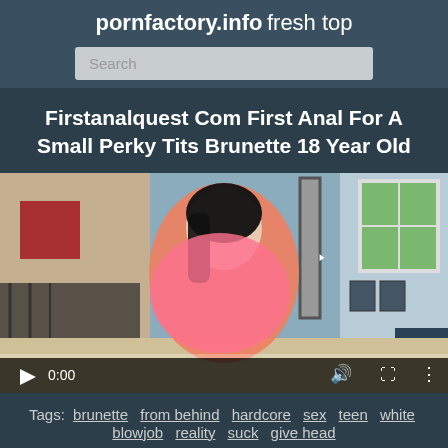pornfactory.info fresh top
Search
Firstanalquest Com First Anal For A Small Perky Tits Brunette 18 Year Old
[Figure (screenshot): Video player showing a young brunette woman in a pink outfit in a bedroom scene. Controls show play button, 0:00 timestamp, volume and fullscreen icons.]
Tags: brunette from behind hardcore sex teen white blowjob reality suck give head